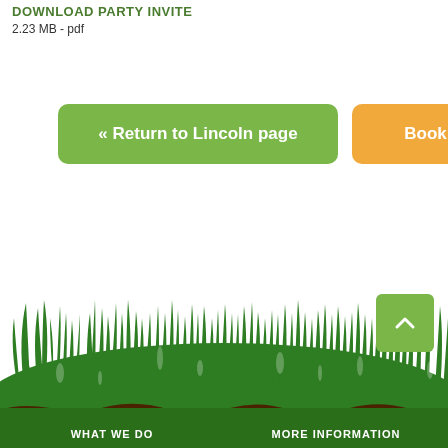DOWNLOAD PARTY INVITE
2.23 MB - pdf
« Return to Lincoln page
Book now »
[Figure (illustration): Decorative illustration of green grass silhouettes against white background, with brown soil at the bottom. A green scroll-to-top button with an upward chevron arrow is positioned at the lower right.]
WHAT WE DO
MORE INFORMATION